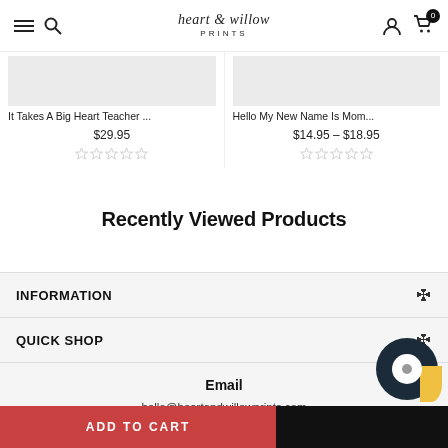heart & willow PRINTS — navigation bar with menu, search, logo, account, cart (0)
It Takes A Big Heart Teacher ...
$29.95
Hello My New Name Is Mom...
$14.95 – $18.95
Recently Viewed Products
INFORMATION
QUICK SHOP
Email
hello@heartandwillowprints.com
ADD TO CART